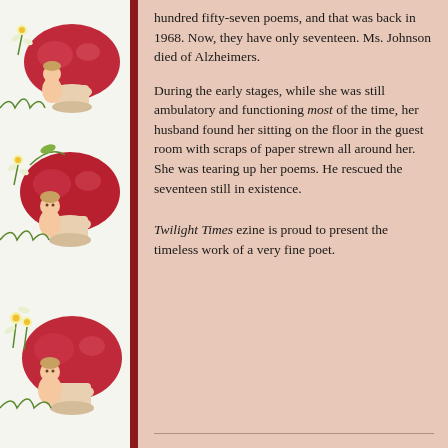[Figure (illustration): Decorative left column with repeating fairy/elf figures sitting near large red mushrooms with white daisy flowers, on a light textured background]
hundred fifty-seven poems, and that was back in 1968. Now, they have only seventeen. Ms. Johnson died of Alzheimers.
During the early stages, while she was still ambulatory and functioning most of the time, her husband found her sitting on the floor in the guest room with scraps of paper strewn all around her. She was tearing up her poems. He rescued the seventeen still in existence.
Twilight Times ezine is proud to present the timeless work of a very fine poet.